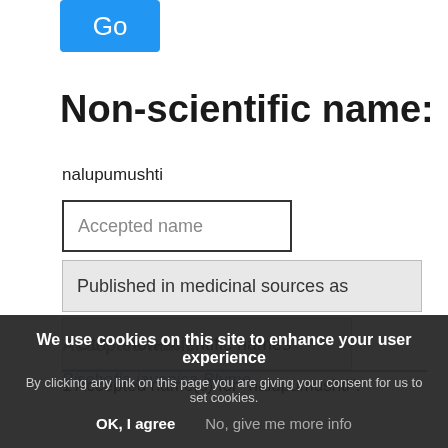[Figure (screenshot): Blue 'Go' button]
Non-scientific name:
nalupumushti
Accepted name
Published in medicinal sources as
Other non-scientific names
1 Accepted name(s) for "nalupumushti":
Accepted name
Bischofia javanica Blume
We use cookies on this site to enhance your user experience
By clicking any link on this page you are giving your consent for us to set cookies.
OK, I agree   No, give me more info